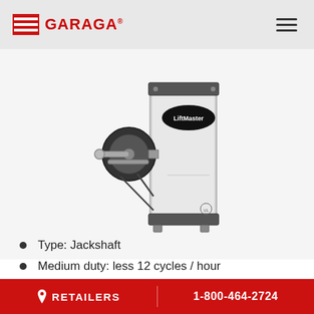GARAGA
[Figure (photo): LiftMaster jackshaft garage door opener unit — wall-mount style with drum, cable mechanism, and silver rectangular motor housing labeled LiftMaster]
Type: Jackshaft
Medium duty: less 12 cycles / hour
RETAILERS  1-800-464-2724